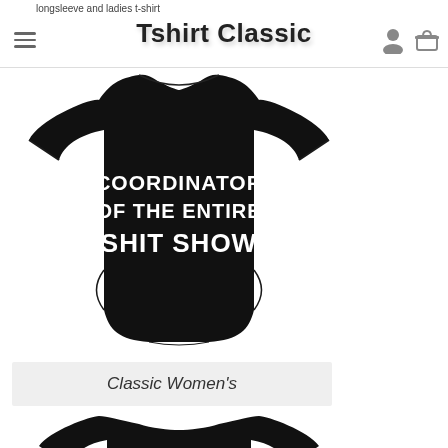longsleeve and ladies t-shirt | Tshirt Classic
[Figure (photo): Black women's t-shirt with white text reading 'COORDINATOR OF THE ENTIRE SHIT SHOW']
Classic Women's
[Figure (photo): Partial view of another black t-shirt product, cropped at bottom of page]